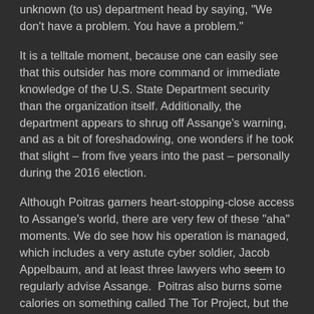unknown (to us) department head by saying, "We don't have a problem. You have a problem."
It is a telltale moment, because one can easily see that this outsider has more command or immediate knowledge of the U.S. State Department security than the organization itself. Additionally, the department appears to shrug off Assange's warning, and as a bit of foreshadowing, one wonders if he took that slight – from five years into the past – personally during the 2016 election.
Although Poitras garners heart-stopping-close access to Assange's world, there are very few of these "aha" moments. We do see how his operation is managed, which includes a very astute cyber soldier, Jacob Appelbaum, and at least three lawyers who seem to regularly advise Assange. Poitras also burns some calories on something called The Tor Project, but the